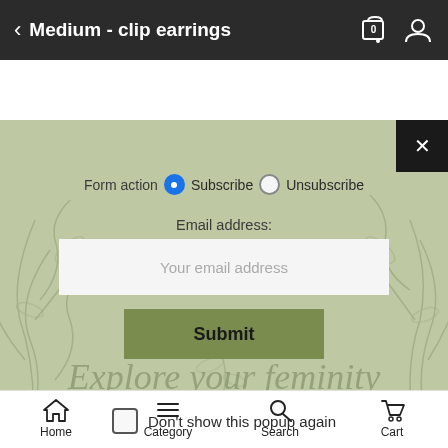Medium - clip earrings
[Figure (screenshot): Email subscription popup modal over a sage green botanical background. Contains Form action radio buttons (Subscribe selected, Unsubscribe unselected), Email address label, email input field with placeholder 'Your email address', Submit button, decorative script text 'Explore your feminity', and a 'Don't show this popup again' checkbox. A black close (X) button in the top-right corner.]
Home  Category  Search  Cart